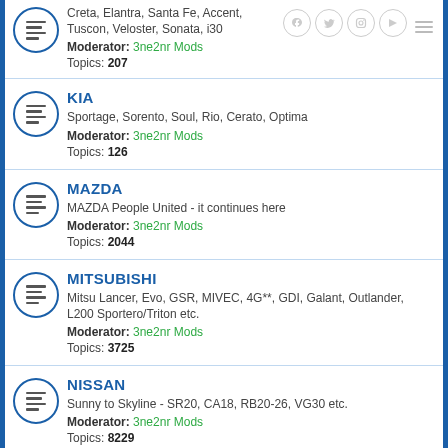Hyundai - Creta, Elantra, Santa Fe, Accent, Tuscon, Veloster, Sonata, i30 | Moderator: 3ne2nr Mods | Topics: 207
KIA - Sportage, Sorento, Soul, Rio, Cerato, Optima | Moderator: 3ne2nr Mods | Topics: 126
MAZDA - MAZDA People United - it continues here | Moderator: 3ne2nr Mods | Topics: 2044
MITSUBISHI - Mitsu Lancer, Evo, GSR, MIVEC, 4G**, GDI, Galant, Outlander, L200 Sportero/Triton etc. | Moderator: 3ne2nr Mods | Topics: 3725
NISSAN - Sunny to Skyline - SR20, CA18, RB20-26, VG30 etc. | Moderator: 3ne2nr Mods | Topics: 8229
SUBARU - Fuji Heavy Industry tech talk - STi, WRX, Forester etc.